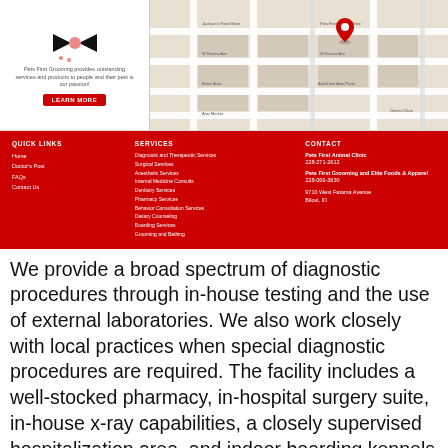[Figure (screenshot): Pets First Grooming logo and tagline with LEARN MORE button on the left, and a Google Maps view showing the location of Pets First Animal Clinic on the right.]
[Figure (map): Google Maps view showing the area around Pets First Animal Clinic location marked with a red pin.]
QUICK LINKS: Home, Doctor's Post, FAQs, Contact Us | SERVICES: Diagnostic and Therapeutic Services, Surgical Services, Anesthetic Services, Internal Medicine Consults, Dentistry Services, Pharmacy Services, Behavior Consultation Services, Dietary Counseling, Boarding Services, Grooming and Bathing | CONTACT: Pets First Animal Clinic 228-271-2612, Pets First Grooming and Elite Foods & Apparel 228-066-3630, 9710 West Fatama Avenue Biloxi, IO
We provide a broad spectrum of diagnostic procedures through in-house testing and the use of external laboratories. We also work closely with local practices when special diagnostic procedures are required. The facility includes a well-stocked pharmacy, in-hospital surgery suite, in-house x-ray capabilities, a closely supervised hospitalization area, and indoor boarding kennels with special care taken of your pet by our caring staff. At Pets First Animal Clinic we strive to offer not only sound advice but also optimal veterinary